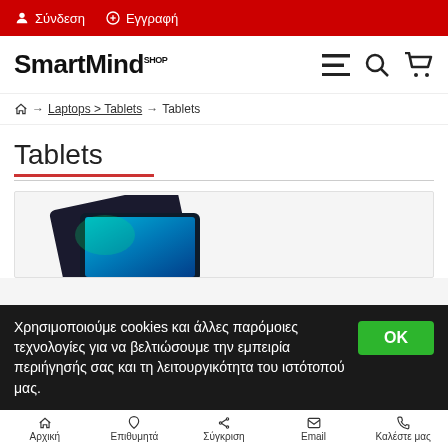Σύνδεση  Εγγραφή
SmartMind SHOP
🏠 → Laptops > Tablets → Tablets
Tablets
[Figure (photo): Tablet device product image shown partially at bottom of product card]
Χρησιμοποιούμε cookies και άλλες παρόμοιες τεχνολογίες για να βελτιώσουμε την εμπειρία περιήγησής σας και τη λειτουργικότητα του ιστότοπού μας.
Αρχική  Επιθυμητά  Σύγκριση  Email  Καλέστε μας